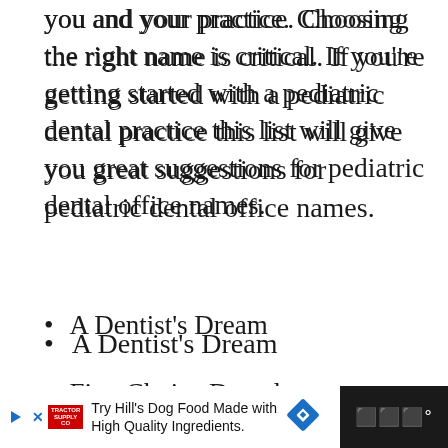you and your practice. Choosing the right name is critical. If you're getting started with a pediatric dental practice this list will give you great suggestions for pediatric dental office names.
A Dentist's Dream
First Choice Dental
A Smile to Treasure
We Give Good Teeth
Try Hill's Dog Food Made with High Quality Ingredients.